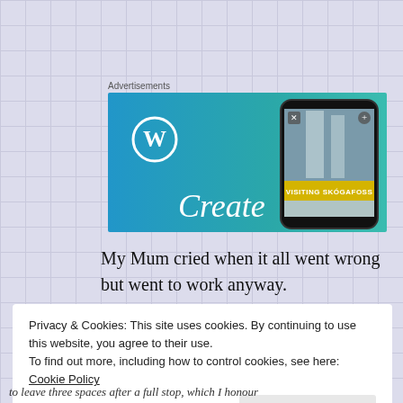Advertisements
[Figure (screenshot): WordPress advertisement banner showing the WordPress logo (W in circle), a smartphone displaying a travel blog post titled 'VISITING SKÓGAFOSS', and the word 'Create' in large white text on a blue/teal gradient background.]
My Mum cried when it all went wrong but went to work anyway.
Privacy & Cookies: This site uses cookies. By continuing to use this website, you agree to their use.
To find out more, including how to control cookies, see here:
Cookie Policy
Close and accept
to leave three spaces after a full stop, which I honour